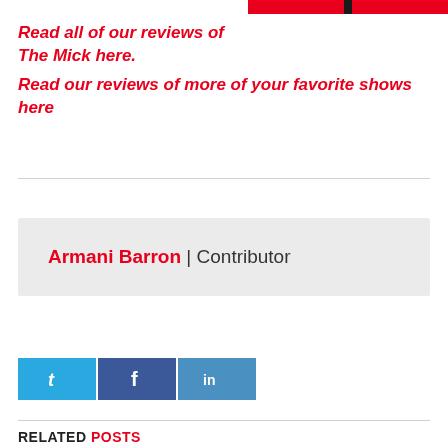Read all of our reviews of The Mick here.
Read our reviews of more of your favorite shows here
Armani Barron | Contributor
[Figure (other): Social share buttons: Twitter (blue), Facebook (dark blue), LinkedIn (blue)]
RELATED POSTS